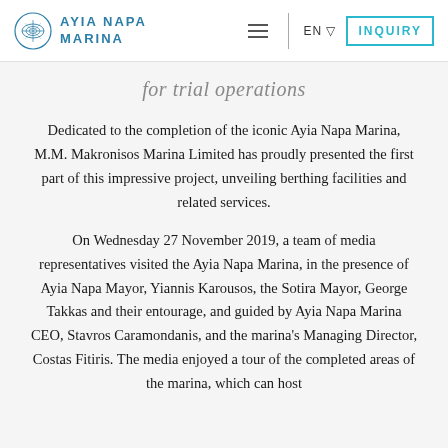AYIA NAPA MARINA | EN | INQUIRY
for trial operations
Dedicated to the completion of the iconic Ayia Napa Marina, M.M. Makronisos Marina Limited has proudly presented the first part of this impressive project, unveiling berthing facilities and related services.
On Wednesday 27 November 2019, a team of media representatives visited the Ayia Napa Marina, in the presence of Ayia Napa Mayor, Yiannis Karousos, the Sotira Mayor, George Takkas and their entourage, and guided by Ayia Napa Marina CEO, Stavros Caramondanis, and the marina's Managing Director, Costas Fitiris. The media enjoyed a tour of the completed areas of the marina, which can host